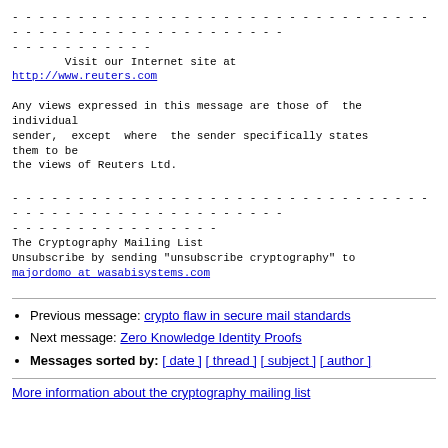- - - - - - - - - - - - - - - - - - - - - - - - - - - - - - - - - - - - - - - - - - - - - - - - - - - - - - - - - - - - - - -
- - - - - - - - - - -
        Visit our Internet site at
http://www.reuters.com

Any views expressed in this message are those of  the individual
sender,  except  where  the sender specifically states them to be
the views of Reuters Ltd.
- - - - - - - - - - - - - - - - - - - - - - - - - - - - - - - - - - - - - - - - - - - - - - - - - - - - - - - - - - - - - - -
- - - - - - - - - - - - - - - -
The Cryptography Mailing List
Unsubscribe by sending "unsubscribe cryptography" to
majordomo at wasabisystems.com
Previous message: crypto flaw in secure mail standards
Next message: Zero Knowledge Identity Proofs
Messages sorted by: [ date ] [ thread ] [ subject ] [ author ]
More information about the cryptography mailing list